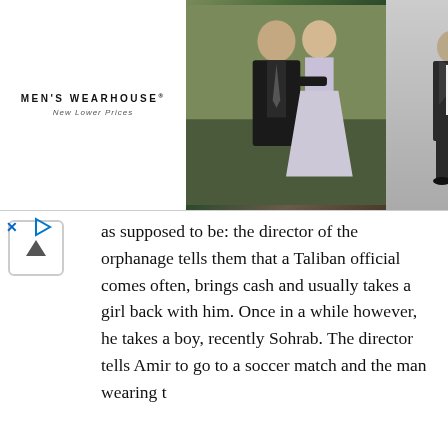[Figure (photo): Men's Wearhouse advertisement banner showing a couple in formal wear (man in dark suit, woman in light dress) and a man in a suit on the right with an INFO button. The logo reads MEN'S WEARHOUSE® New Lower Prices.]
as supposed to be: the director of the orphanage tells them that a Taliban official comes often, brings cash and usually takes a girl back with him. Once in a while however, he takes a boy, recently Sohrab. The director tells Amir to go to a soccer match and the man wearing the John Lennon glasses is the man who took Sohrab.
*personal business* with him.
Diese Website verwendet Cookies um die Funktionalität zu optimieren  Mehr erfahren
Geht klar!
At the office, Amir has a meeting with the mob; the man in sunglasses reveals himself to be Assef, Amir's childhood nemesis. Assef is aware of Amir's identity from the very beginning, but Amir doesn't realize it is Assef sitting across from him until Assef starts asking about Ali